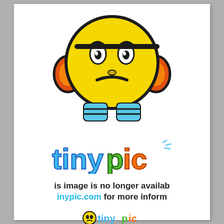[Figure (illustration): Tinypic.com 'image no longer available' error page showing a sad yellow emoji mascot with orange ear-pieces and blue body, the colorful 'tinypic' logo, error text 'is image is no longer availab' and 'inypic.com for more inform', a small repeat of the tinypic logo/mascot, and an 'iBooks' label at bottom.]
is image is no longer availab
inypic.com for more inform
iBooks